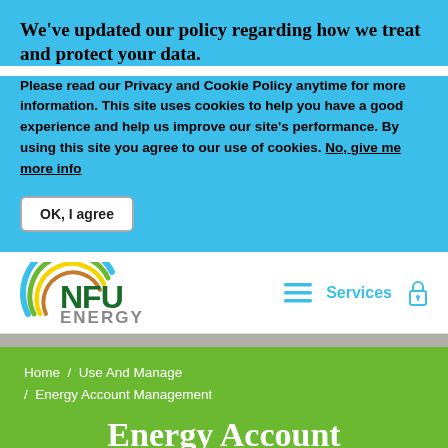We've updated our policy regarding how we treat and protect your data.
Please read our Privacy and Cookie Policy anytime for more information. This site uses cookies to help you have a good experience and help us improve our site's performance. By using this site you agree to our use of cookies. No, give me more info
OK, I agree
[Figure (logo): NFU Energy logo with rainbow arc above NFU in green bold letters and ENERGY in grey below]
Services
Home / Use And Manage / Energy Account Management
Energy Account Management